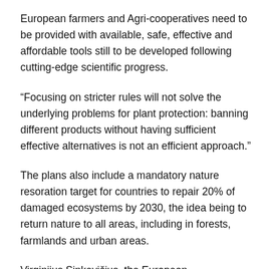European farmers and Agri-cooperatives need to be provided with available, safe, effective and affordable tools still to be developed following cutting-edge scientific progress.
“Focusing on stricter rules will not solve the underlying problems for plant protection: banning different products without having sufficient effective alternatives is not an efficient approach.”
The plans also include a mandatory nature resoration target for countries to repair 20% of damaged ecosystems by 2030, the idea being to return nature to all areas, including in forests, farmlands and urban areas.
Virginijus Sinkevičius, the European Commissioner for the Environment told Euronews in an exclusive interview that the idea of nature restoration is win-win for everyone.